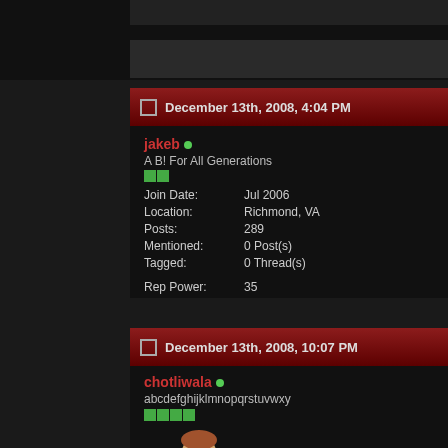December 13th, 2008, 4:04 PM
jakeb
A B! For All Generations
Join Date: Jul 2006
Location: Richmond, VA
Posts: 289
Mentioned: 0 Post(s)
Tagged: 0 Thread(s)
Rep Power: 35
12/13 ROHbot Report (Top 20 S Results And Fallout, Trying To G And More)
http://www.worldwrestlinginsani
December 13th, 2008, 10:07 PM
chotliwala
abcdefghijklmnopqrstuvwxy
[Figure (photo): Avatar of chotliwala showing a person with a yellow star graphic]
Originally Posted by E
Black could be the next marketability, i've seen m
Frankly, right now Ring guys who can work, and that people might want t